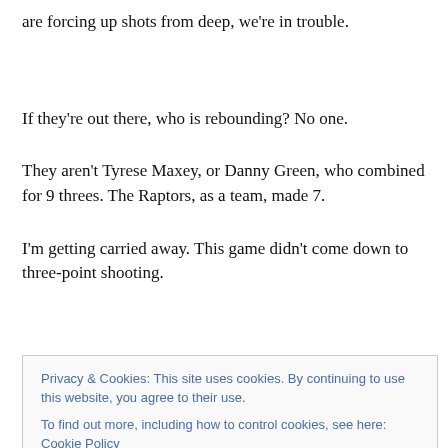are forcing up shots from deep, we're in trouble.
If they're out there, who is rebounding? No one.
They aren't Tyrese Maxey, or Danny Green, who combined for 9 threes. The Raptors, as a team, made 7.
I'm getting carried away. This game didn't come down to three-point shooting.
Privacy & Cookies: This site uses cookies. By continuing to use this website, you agree to their use. To find out more, including how to control cookies, see here: Cookie Policy
airplane down the court and poking fun (mocking?) at our